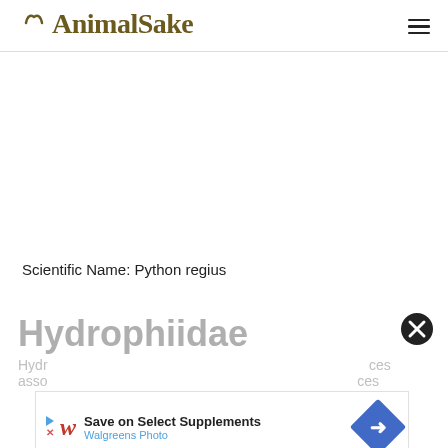AnimalSake
Scientific Name: Python regius
Hydrophiidae
Hydrophiidae assoc...ces
[Figure (other): Walgreens Photo advertisement banner: 'Save on Select Supplements' with Walgreens Photo logo and navigation arrow icon]